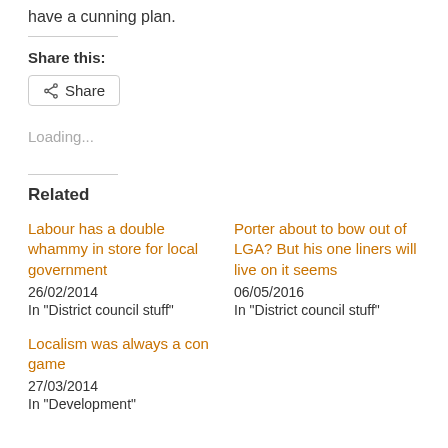have a cunning plan.
Share this:
[Figure (other): Share button with share icon]
Loading...
Related
Labour has a double whammy in store for local government
26/02/2014
In "District council stuff"
Porter about to bow out of LGA? But his one liners will live on it seems
06/05/2016
In "District council stuff"
Localism was always a con game
27/03/2014
In "Development"